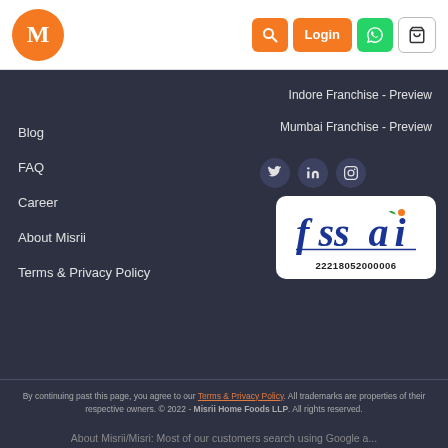[Figure (logo): Misrii orange circle logo with M letter]
Login
Indore Franchise - Preview
Mumbai Franchise - Preview
Blog
FAQ
Career
About Misrii
Terms & Privacy Policy
[Figure (logo): FSSAI certification logo with number 22218052000006]
By continuing past this page, you agree to our Terms & Privacy Policy. All trademarks are properties of their respective owners. © 2022 - Misrii Home Foods LLP. All rights reserved.
About Misrii/Misri: Most of our customers search using Google a...